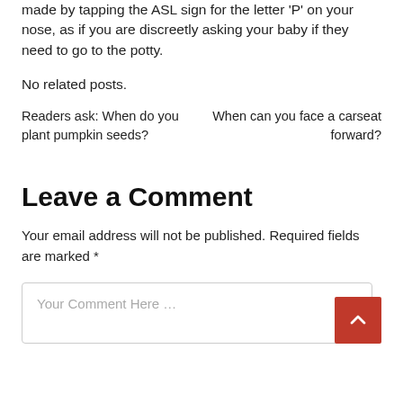made by tapping the ASL sign for the letter 'P' on your nose, as if you are discreetly asking your baby if they need to go to the potty.
No related posts.
Readers ask: When do you plant pumpkin seeds?
When can you face a carseat forward?
Leave a Comment
Your email address will not be published. Required fields are marked *
Your Comment Here …